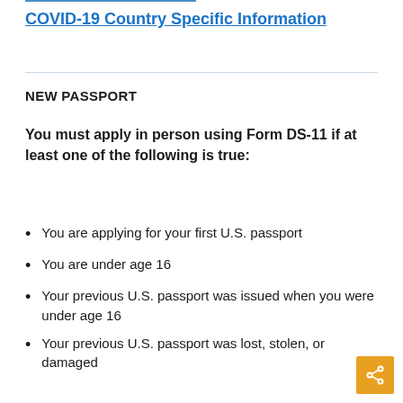COVID-19 Country Specific Information
NEW PASSPORT
You must apply in person using Form DS-11 if at least one of the following is true:
You are applying for your first U.S. passport
You are under age 16
Your previous U.S. passport was issued when you were under age 16
Your previous U.S. passport was lost, stolen, or damaged